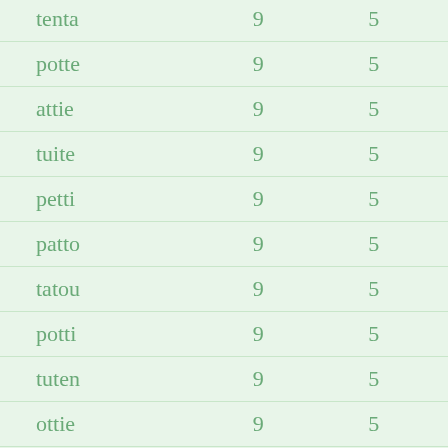| tenta | 9 | 5 |
| potte | 9 | 5 |
| attie | 9 | 5 |
| tuite | 9 | 5 |
| petti | 9 | 5 |
| patto | 9 | 5 |
| tatou | 9 | 5 |
| potti | 9 | 5 |
| tuten | 9 | 5 |
| ottie | 9 | 5 |